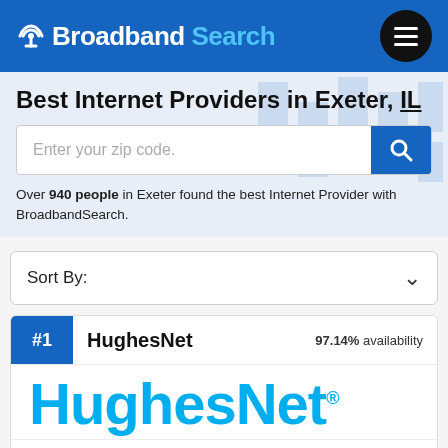Broadband Search
Best Internet Providers in Exeter, IL
Enter your zip code.
Over 940 people in Exeter found the best Internet Provider with BroadbandSearch.
Sort By:
#1  HughesNet  97.14% availability
[Figure (logo): HughesNet logo in large cyan/blue text]
Speed up to: 25 Mbps  Price from: $59.99  User Review: 3 out of 5 stars